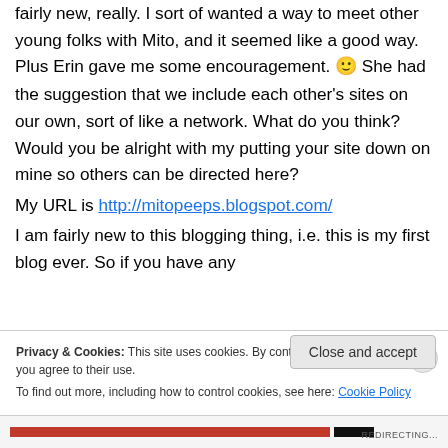fairly new, really. I sort of wanted a way to meet other young folks with Mito, and it seemed like a good way. Plus Erin gave me some encouragement. 🙂 She had the suggestion that we include each other's sites on our own, sort of like a network. What do you think? Would you be alright with my putting your site down on mine so others can be directed here?
My URL is http://mitopeeps.blogspot.com/
I am fairly new to this blogging thing, i.e. this is my first blog ever. So if you have any
Privacy & Cookies: This site uses cookies. By continuing to use this website, you agree to their use.
To find out more, including how to control cookies, see here: Cookie Policy